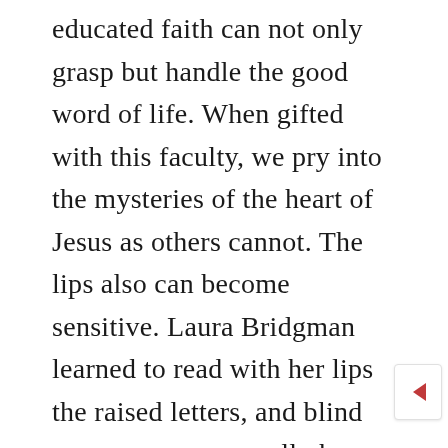educated faith can not only grasp but handle the good word of life. When gifted with this faculty, we pry into the mysteries of the heart of Jesus as others cannot. The lips also can become sensitive. Laura Bridgman learned to read with her lips the raised letters, and blind persons very generally have a wonderful life in the ends of their fingers which others of us have not yet developed. So the Lord would have his people enjoy a sensitively discerning life, which shall reveal to them what else they would never have felt and known. Oh,